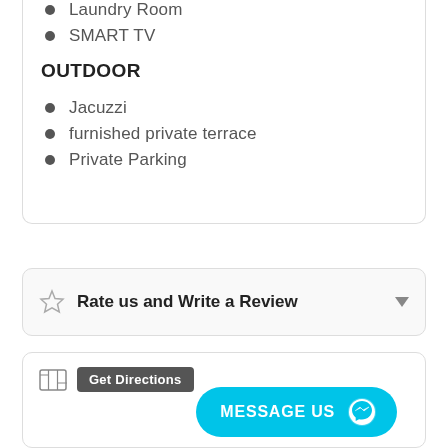Laundry Room
SMART TV
OUTDOOR
Jacuzzi
furnished private terrace
Private Parking
Rate us and Write a Review
Get Directions
MESSAGE US